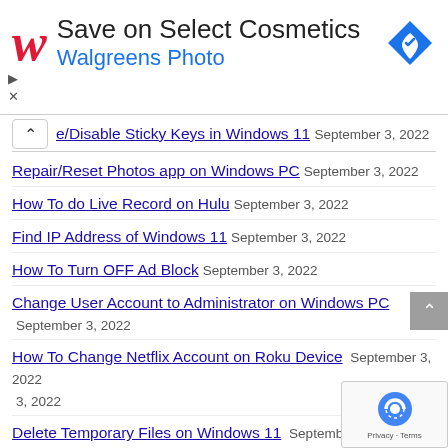[Figure (advertisement): Walgreens ad banner: red cursive W logo, 'Save on Select Cosmetics' heading, 'Walgreens Photo' subtitle in blue, blue diamond navigation icon on right, play and close controls bottom-left]
e/Disable Sticky Keys in Windows 11 September 3, 2022
Repair/Reset Photos app on Windows PC September 3, 2022
How To do Live Record on Hulu September 3, 2022
Find IP Address of Windows 11 September 3, 2022
How To Turn OFF Ad Block September 3, 2022
Change User Account to Administrator on Windows PC September 3, 2022
How To Change Netflix Account on Roku Device September 3, 2022
Delete Temporary Files on Windows 11 September 3, 2022
Convert DMG to ISO on Windows and Mac September 2022